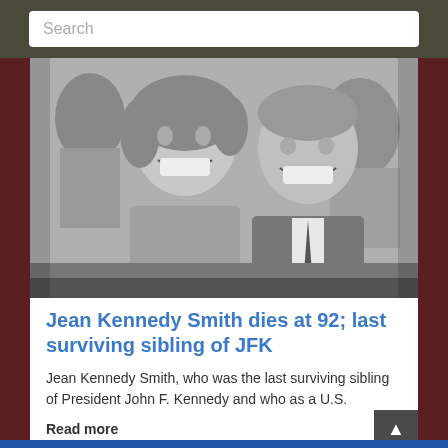Search
[Figure (photo): Black and white photograph of a smiling woman with curly hair alongside a smiling man in a suit and tie, likely Jean Kennedy Smith and President John F. Kennedy, seated outdoors with a crowd behind them.]
Jean Kennedy Smith dies at 92; last surviving sibling of JFK
Jean Kennedy Smith, who was the last surviving sibling of President John F. Kennedy and who as a U.S. ambassador played a key role in the peace process in Northern Ireland, has died, relatives said.
Read more